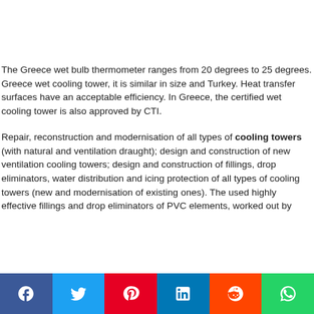The Greece wet bulb thermometer ranges from 20 degrees to 25 degrees. Greece wet cooling tower, it is similar in size and Turkey. Heat transfer surfaces have an acceptable efficiency. In Greece, the certified wet cooling tower is also approved by CTI.
Repair, reconstruction and modernisation of all types of cooling towers (with natural and ventilation draught); design and construction of new ventilation cooling towers; design and construction of fillings, drop eliminators, water distribution and icing protection of all types of cooling towers (new and modernisation of existing ones). The used highly effective fillings and drop eliminators of PVC elements, worked out by
[Figure (other): Social media share bar with Facebook, Twitter, Pinterest, LinkedIn, Reddit, and WhatsApp buttons]